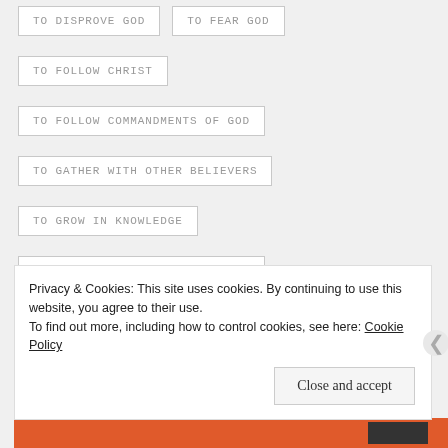TO DISPROVE GOD
TO FEAR GOD
TO FOLLOW CHRIST
TO FOLLOW COMMANDMENTS OF GOD
TO GATHER WITH OTHER BELIEVERS
TO GROW IN KNOWLEDGE
TO HAVE FAITH IN CHRIST JESUS
TO HAVE FAITH IN GOD
TO HEAR MESSAGE FROM GOD
Privacy & Cookies: This site uses cookies. By continuing to use this website, you agree to their use.
To find out more, including how to control cookies, see here: Cookie Policy
Close and accept